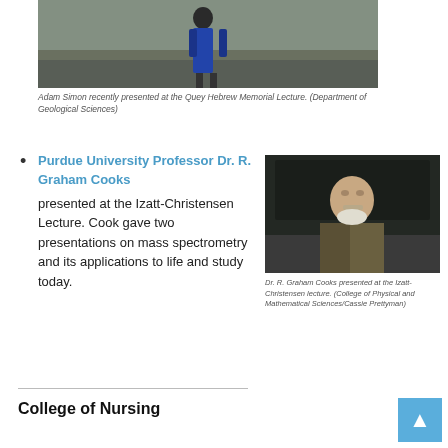[Figure (photo): Photo of Adam Simon standing outdoors on rocky/gravelly ground, wearing a blue jacket]
Adam Simon recently presented at the Quey Hebrew Memorial Lecture. (Department of Geological Sciences)
Purdue University Professor Dr. R. Graham Cooks presented at the Izatt-Christensen Lecture. Cook gave two presentations on mass spectrometry and its applications to life and study today.
[Figure (photo): Photo of Dr. R. Graham Cooks standing in front of a chalkboard, wearing a suit jacket]
Dr. R. Graham Cooks presented at the Izatt-Christensen lecture. (College of Physical and Mathematical Sciences/Cassie Prettyman)
College of Nursing